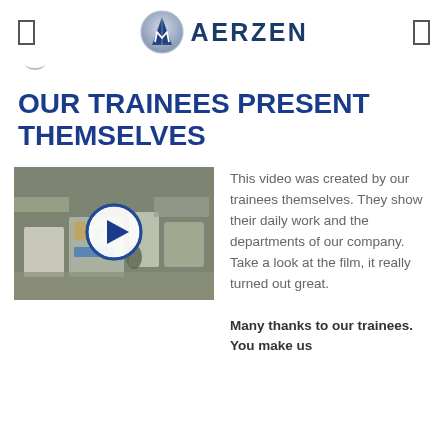AERZEN
OUR TRAINEES PRESENT THEMSELVES
[Figure (screenshot): Video thumbnail showing an industrial workshop/factory floor from above with a play button overlay circle]
This video was created by our trainees themselves. They show their daily work and the departments of our company. Take a look at the film, it really turned out great.
Many thanks to our trainees. You make us